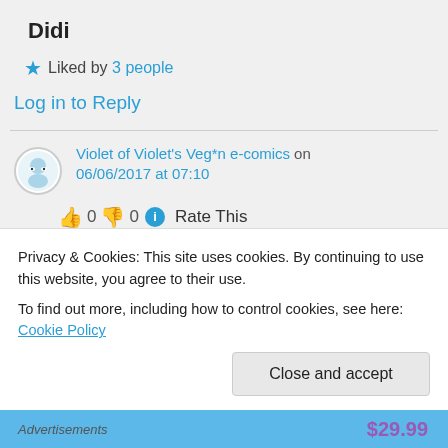Didi
★ Liked by 3 people
Log in to Reply
Violet of Violet's Veg*n e-comics on 06/06/2017 at 07:10
👍 0 👎 0 ℹ Rate This
You're welcome! It's fascinating 😀
You have a great day too!
Privacy & Cookies: This site uses cookies. By continuing to use this website, you agree to their use.
To find out more, including how to control cookies, see here: Cookie Policy
Close and accept
Advertisements